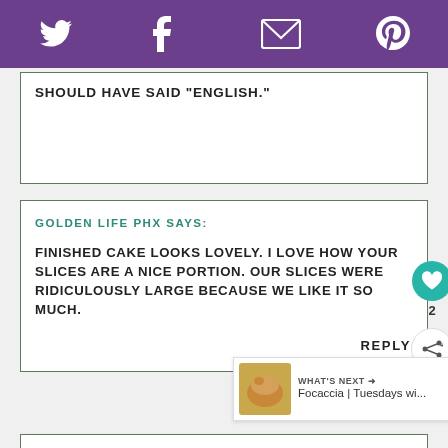[Social share bar: Twitter, Facebook, Email, Pinterest]
SHOULD HAVE SAID "ENGLISH."
GOLDEN LIFE PHX SAYS:
FINISHED CAKE LOOKS LOVELY. I LOVE HOW YOUR SLICES ARE A NICE PORTION. OUR SLICES WERE RIDICULOUSLY LARGE BECAUSE WE LIKE IT SO MUCH.
REPLY
WHAT'S NEXT → Focaccia | Tuesdays wi...